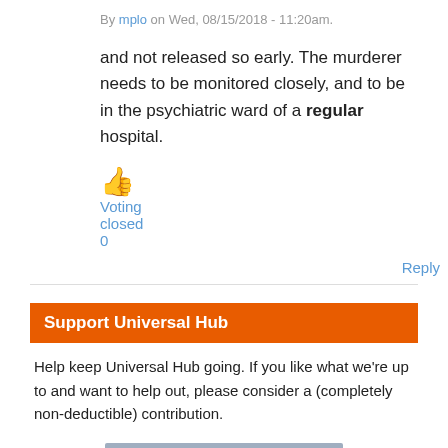By mplo on Wed, 08/15/2018 - 11:20am.
and not released so early. The murderer needs to be monitored closely, and to be in the psychiatric ward of a regular hospital.
[Figure (illustration): Thumbs up emoji icon in orange/yellow color]
Voting
closed
0
Reply
Support Universal Hub
Help keep Universal Hub going. If you like what we're up to and want to help out, please consider a (completely non-deductible) contribution.
Support now